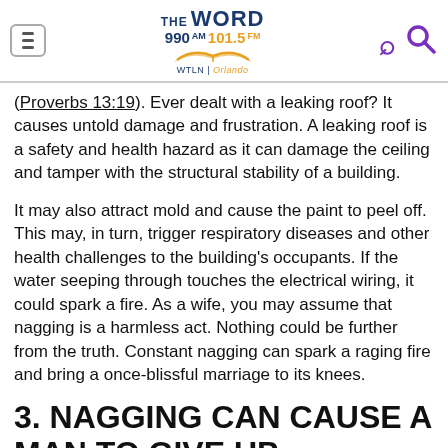THE WORD 990AM 101.5FM WTLN | Orlando
(Proverbs 13:19). Ever dealt with a leaking roof? It causes untold damage and frustration. A leaking roof is a safety and health hazard as it can damage the ceiling and tamper with the structural stability of a building.
It may also attract mold and cause the paint to peel off. This may, in turn, trigger respiratory diseases and other health challenges to the building's occupants. If the water seeping through touches the electrical wiring, it could spark a fire. As a wife, you may assume that nagging is a harmless act. Nothing could be further from the truth. Constant nagging can spark a raging fire and bring a once-blissful marriage to its knees.
3. NAGGING CAN CAUSE A MAN TO GIVE UP